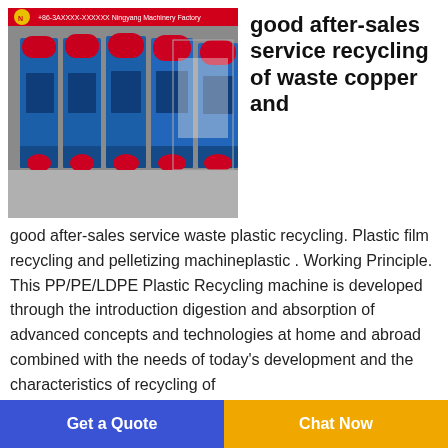[Figure (photo): Industrial blue wire/cable stripping machines lined up on a factory floor, with red components on top. A company logo and phone number banner visible at the top of the image.]
good after-sales service recycling of waste copper and
good after-sales service waste plastic recycling. Plastic film recycling and pelletizing machineplastic . Working Principle. This PP/PE/LDPE Plastic Recycling machine is developed through the introduction digestion and absorption of advanced concepts and technologies at home and abroad combined with the needs of today's development and the characteristics of recycling of
Get a Quote   Chat Now